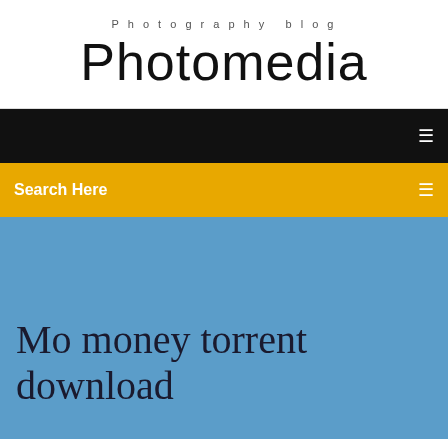Photography blog
Photomedia
Search Here
Mo money torrent download